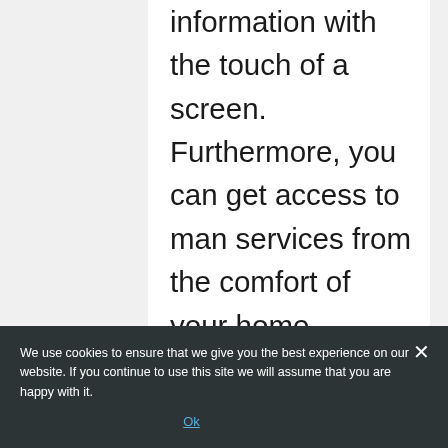information with the touch of a screen. Furthermore, you can get access to man services from the comfort of your home through online platforms. Loan services are some of these services you can get access to online. Here are five tips to help you when comparing loans online.
Be Knowledgeable
The first step is to know about what you are comparing. Knowledge in the sense that you understand the particulars
We use cookies to ensure that we give you the best experience on our website. If you continue to use this site we will assume that you are happy with it.